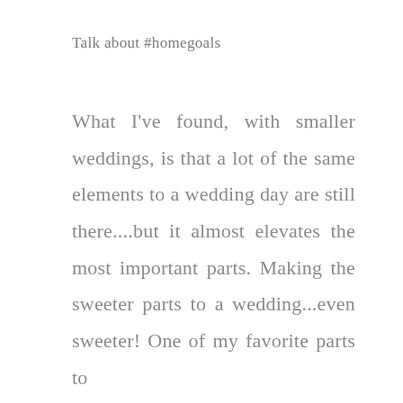Talk about #homegoals
What I've found, with smaller weddings, is that a lot of the same elements to a wedding day are still there....but it almost elevates the most important parts. Making the sweeter parts to a wedding...even sweeter! One of my favorite parts to